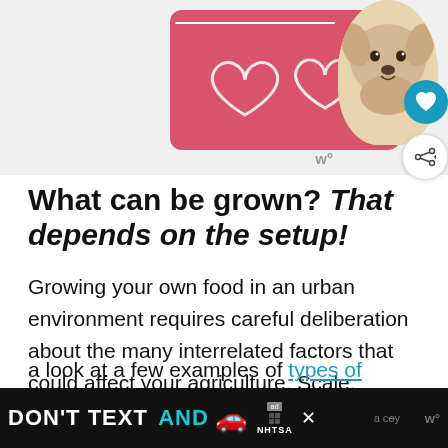[Figure (photo): Advertisement banner at top showing a pink card with heart outlines and a fluffy dog photo, with a 'w' logo watermark]
What can be grown? That depends on the setup!
Growing your own food in an urban environment requires careful deliberation about the many interrelated factors that could affect your agriculture. Scale, budget, technology, and space make each separate method useful in different contexts. Let's ta a look at a few examples of types of
[Figure (infographic): Bottom advertisement banner: black background with 'DON'T TEXT AND' in white/cyan bold text, red car emoji, ad badge, NHTSA logo, and close X button]